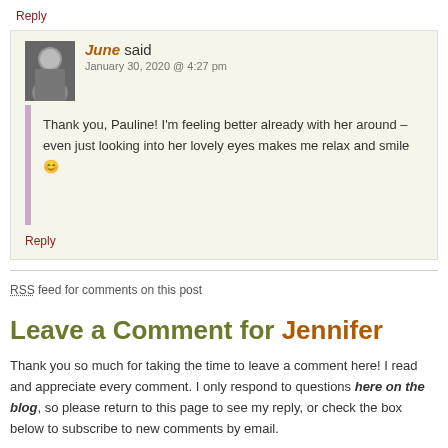Reply
June said
January 30, 2020 @ 4:27 pm
Thank you, Pauline! I'm feeling better already with her around – even just looking into her lovely eyes makes me relax and smile 😊
Reply
RSS feed for comments on this post
Leave a Comment for Jennifer
Thank you so much for taking the time to leave a comment here! I read and appreciate every comment. I only respond to questions here on the blog, so please return to this page to see my reply, or check the box below to subscribe to new comments by email.